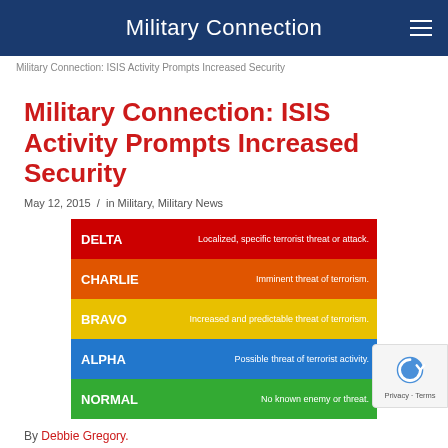Military Connection
Military Connection: ISIS Activity Prompts Increased Security
Military Connection: ISIS Activity Prompts Increased Security
May 12, 2015 / in Military, Military News
[Figure (infographic): Threat level chart showing 5 levels: DELTA (red) - Localized, specific terrorist threat or attack; CHARLIE (orange) - Imminent threat of terrorism; BRAVO (yellow) - Increased and predictable threat of terrorism; ALPHA (blue) - Possible threat of terrorist activity; NORMAL (green) - No known enemy or threat.]
By Debbie Gregory.